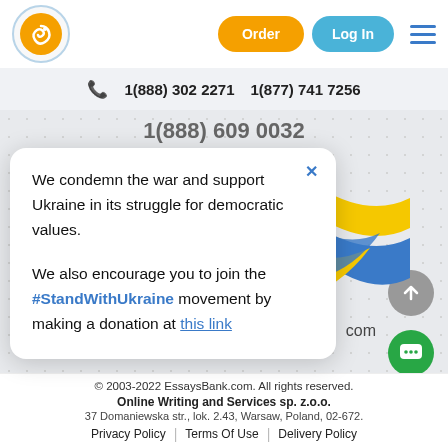[Figure (logo): EssaysBank orange circular logo with spiral 'e' icon]
[Figure (screenshot): Order and Log In buttons plus hamburger menu in header]
1(888) 302 2271    1(877) 741 7256
1(888) 609 0032
[Figure (illustration): Ukrainian flag ribbon illustration with yellow and blue flowing stripes]
We condemn the war and support Ukraine in its struggle for democratic values.

We also encourage you to join the #StandWithUkraine movement by making a donation at this link
© 2003-2022 EssaysBank.com. All rights reserved.
Online Writing and Services sp. z.o.o.
37 Domaniewska str., lok. 2.43, Warsaw, Poland, 02-672.
Privacy Policy | Terms Of Use | Delivery Policy